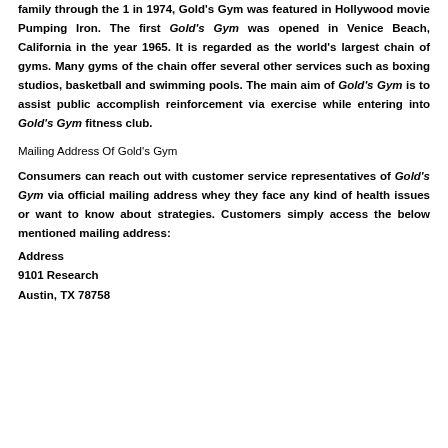family through the 1 in 1974, Gold's Gym was featured in Hollywood movie Pumping Iron. The first Gold's Gym was opened in Venice Beach, California in the year 1965. It is regarded as the world's largest chain of gyms. Many gyms of the chain offer several other services such as boxing studios, basketball and swimming pools. The main aim of Gold's Gym is to assist public accomplish reinforcement via exercise while entering into Gold's Gym fitness club.
Mailing Address Of Gold's Gym
Consumers can reach out with customer service representatives of Gold's Gym via official mailing address whey they face any kind of health issues or want to know about strategies. Customers simply access the below mentioned mailing address:
Address
9101 Research
Austin, TX 78758